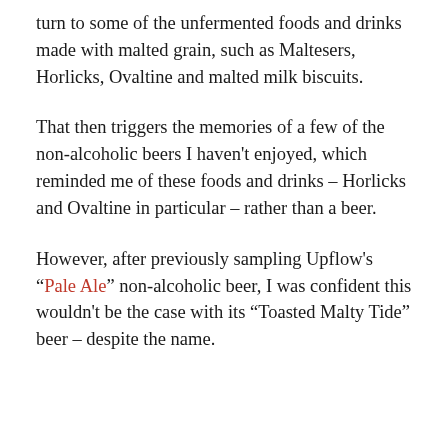turn to some of the unfermented foods and drinks made with malted grain, such as Maltesers, Horlicks, Ovaltine and malted milk biscuits.
That then triggers the memories of a few of the non-alcoholic beers I haven't enjoyed, which reminded me of these foods and drinks – Horlicks and Ovaltine in particular – rather than a beer.
However, after previously sampling Upflow's "Pale Ale" non-alcoholic beer, I was confident this wouldn't be the case with its "Toasted Malty Tide" beer – despite the name.